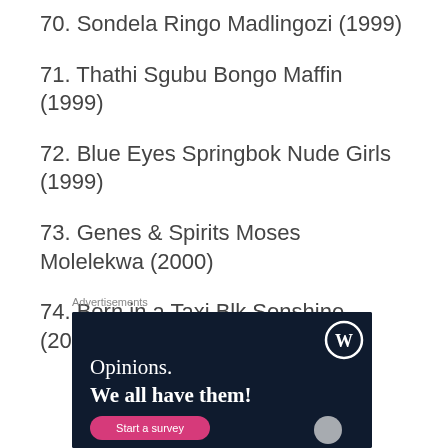70. Sondela Ringo Madlingozi (1999)
71. Thathi Sgubu Bongo Maffin (1999)
72. Blue Eyes Springbok Nude Girls (1999)
73. Genes & Spirits Moses Molelekwa (2000)
74. Born in a Taxi Blk Sonshine (2000)
Advertisements
[Figure (infographic): WordPress advertisement with dark navy background, WordPress logo (W in circle) top right, text 'Opinions. We all have them!' in white serif font, pink 'Start a survey' button at bottom left, and a small circular logo at bottom right.]